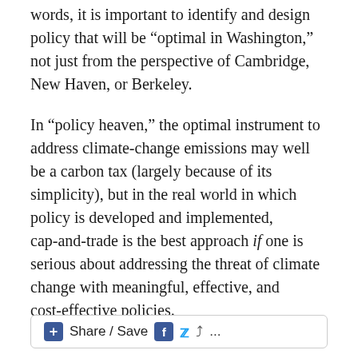words, it is important to identify and design policy that will be “optimal in Washington,” not just from the perspective of Cambridge, New Haven, or Berkeley.
In “policy heaven,” the optimal instrument to address climate-change emissions may well be a carbon tax (largely because of its simplicity), but in the real world in which policy is developed and implemented, cap-and-trade is the best approach if one is serious about addressing the threat of climate change with meaningful, effective, and cost-effective policies.
Share / Save ...